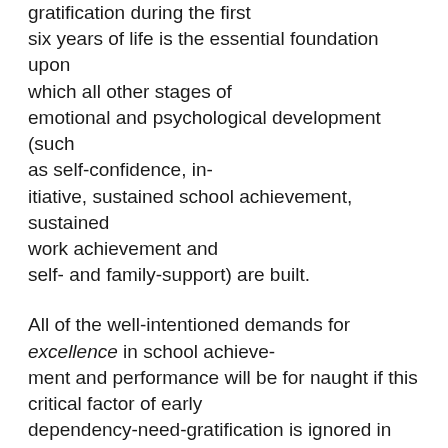gratification during the first six years of life is the essential foundation upon which all other stages of emotional and psychological development (such as self-confidence, initiative, sustained school achievement, sustained work achievement and self- and family-support) are built.

All of the well-intentioned demands for excellence in school achievement and performance will be for naught if this critical factor of early dependency-need-gratification is ignored in early infancy and childhood. A child whose dependence needs have not been gratified is a child who